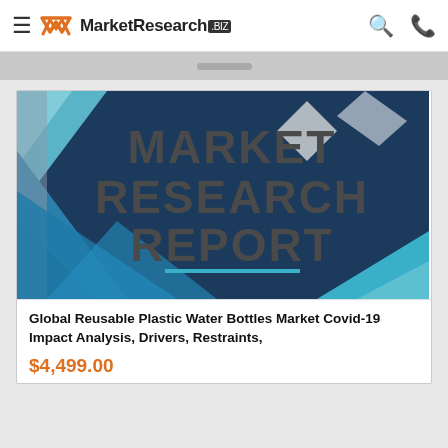MarketResearch.BIZ
[Figure (logo): Market Research Report cover image with geometric blue, teal and gray shapes and text MARKET RESEARCH REPORT]
Global Reusable Plastic Water Bottles Market Covid-19 Impact Analysis, Drivers, Restraints,
$4,499.00